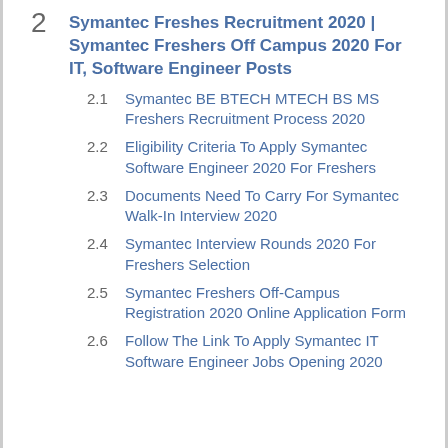2  Symantec Freshes Recruitment 2020 | Symantec Freshers Off Campus 2020 For IT, Software Engineer Posts
2.1  Symantec BE BTECH MTECH BS MS Freshers Recruitment Process 2020
2.2  Eligibility Criteria To Apply Symantec Software Engineer 2020 For Freshers
2.3  Documents Need To Carry For Symantec Walk-In Interview 2020
2.4  Symantec Interview Rounds 2020 For Freshers Selection
2.5  Symantec Freshers Off-Campus Registration 2020 Online Application Form
2.6  Follow The Link To Apply Symantec IT Software Engineer Jobs Opening 2020